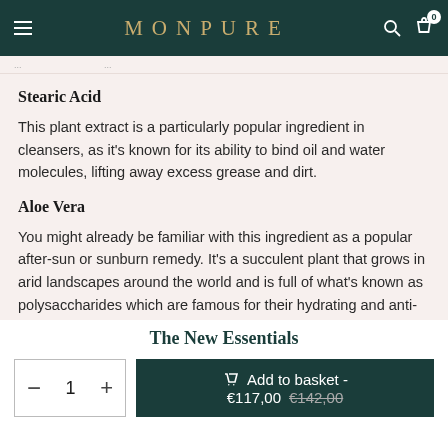MONPURE
Stearic Acid
This plant extract is a particularly popular ingredient in cleansers, as it's known for its ability to bind oil and water molecules, lifting away excess grease and dirt.
Aloe Vera
You might already be familiar with this ingredient as a popular after-sun or sunburn remedy. It's a succulent plant that grows in arid landscapes around the world and is full of what's known as polysaccharides which are famous for their hydrating and anti-inflammatory powers (so it's a hero for issues like irritation, itching
The New Essentials
Add to basket - €117,00 €142,00